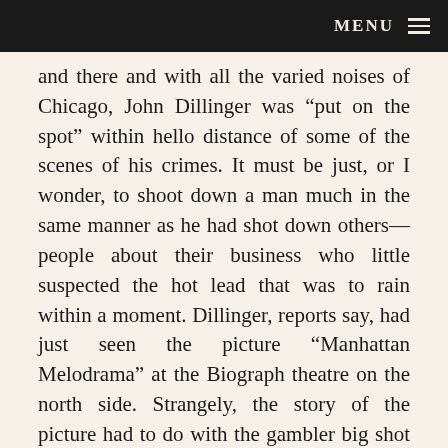MENU
and there and with all the varied noises of Chicago, John Dillinger was “put on the spot” within hello distance of some of the scenes of his crimes. It must be just, or I wonder, to shoot down a man much in the same manner as he had shot down others— people about their business who little suspected the hot lead that was to rain within a moment. Dillinger, reports say, had just seen the picture “Manhattan Melodrama” at the Biograph theatre on the north side. Strangely, the story of the picture had to do with the gambler big shot of New York. And we feel lucky that our visit in